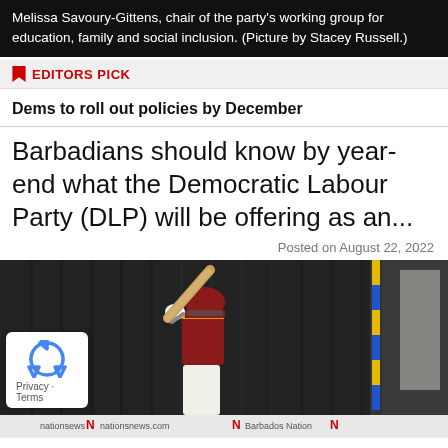Melissa Savoury-Gittens, chair of the party's working group for education, family and social inclusion. (Picture by Stacey Russell.)
EDITORS PICK
Dems to roll out policies by December
Barbadians should know by year-end what the Democratic Labour Party (DLP) will be offering as an...
Posted on August 22, 2022
[Figure (photo): Cricket player in maroon uniform batting, with dark curtain background and advertising hoardings visible at the bottom reading nationsnews.com, Barbados Nation etc.]